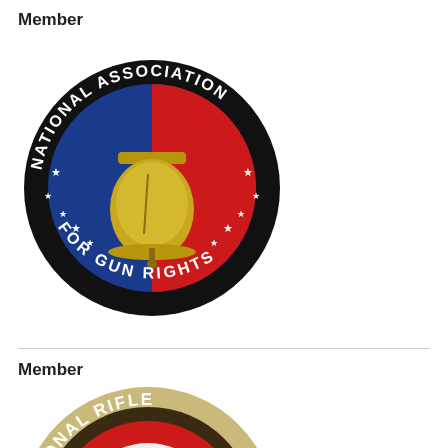Member
[Figure (logo): National Association for Gun Rights circular logo with crossed rifles, Liberty Bell, red/white/blue background, stars, and text 'NATIONAL ASSOCIATION FOR GUN RIGHTS' around the border]
Member
[Figure (logo): National Rifle Association (NRA) circular logo, partially visible, showing 'NATIONAL RIF...' text arc on tan border with red interior]